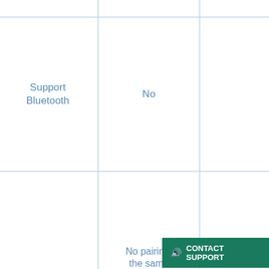|  | Bluetooth | Wireless USB |
| --- | --- | --- |
| Host computer | Support Bluetooth | No |
| Pairing | Bluetooth Pairing | No pairing, the same technology with wireless mouse |
| Driver needed | Yes | No |
| App | Yes | No |
CONTACT SUPPORT